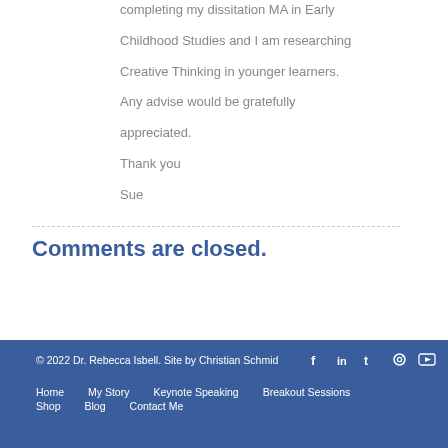completing my dissitation MA in Early Childhood Studies and I am researching Creative Thinking in younger learners. Any advise would be gratefully appreciated.

Thank you

Sue
Comments are closed.
© 2022 Dr. Rebecca Isbell. Site by Christian Schmid
Home   My Story   Keynote Speaking   Breakout Sessions
Shop   Blog   Contact Me